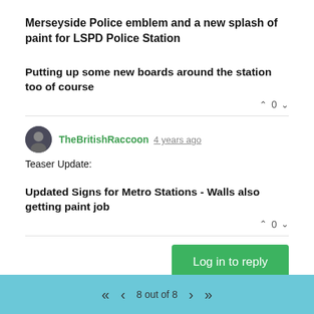Merseyside Police emblem and a new splash of paint for LSPD Police Station
Putting up some new boards around the station too of course
TheBritishRaccoon 4 years ago
Teaser Update:
Updated Signs for Metro Stations - Walls also getting paint job
Log in to reply
8 out of 8